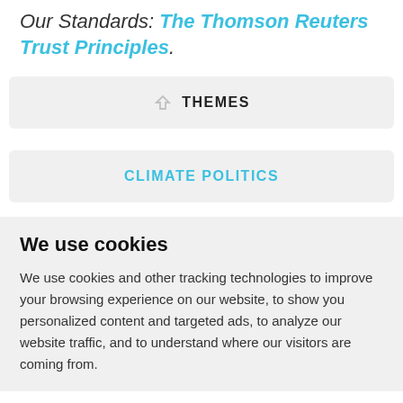Our Standards: The Thomson Reuters Trust Principles.
THEMES
CLIMATE POLITICS
We use cookies
We use cookies and other tracking technologies to improve your browsing experience on our website, to show you personalized content and targeted ads, to analyze our website traffic, and to understand where our visitors are coming from.